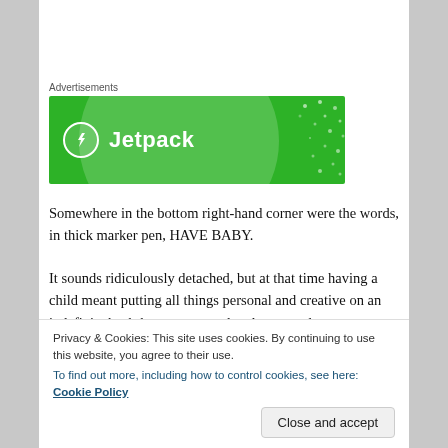Advertisements
[Figure (illustration): Jetpack advertisement banner — green background with a white circle, dots pattern, and Jetpack logo with lightning bolt icon and bold white text 'Jetpack']
Somewhere in the bottom right-hand corner were the words, in thick marker pen, HAVE BABY.
It sounds ridiculously detached, but at that time having a child meant putting all things personal and creative on an indefinite back-burner. so my due date was also my deadline
Privacy & Cookies: This site uses cookies. By continuing to use this website, you agree to their use.
To find out more, including how to control cookies, see here: Cookie Policy
Close and accept
mill, I began to despair at the vague, lurking thought that I